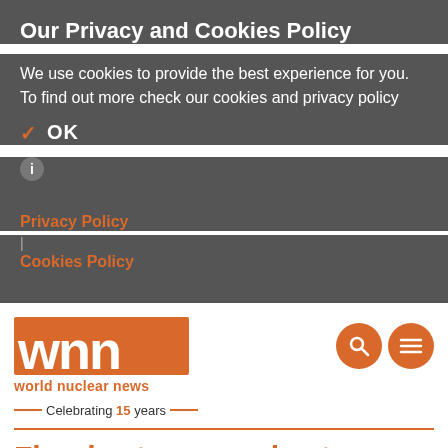Our Privacy and Cookies Policy
We use cookies to provide the best experience for you. To find out more check our cookies and privacy policy
✓ OK
ℹ
Privacy Policy
Cookies Policy
[Figure (logo): World Nuclear News (WNN) logo with 'wnn' letters in orange and 'world nuclear news' tagline, celebrating 15 years]
Floodwaters recede at Cooper
15 July 2011